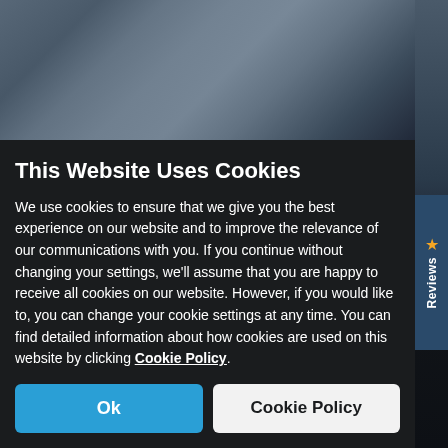[Figure (screenshot): Blurred background showing a car website with dark overlay and navigation bar]
This Website Uses Cookies
We use cookies to ensure that we give you the best experience on our website and to improve the relevance of our communications with you. If you continue without changing your settings, we'll assume that you are happy to receive all cookies on our website. However, if you would like to, you can change your cookie settings at any time. You can find detailed information about how cookies are used on this website by clicking Cookie Policy.
Ok
Cookie Policy